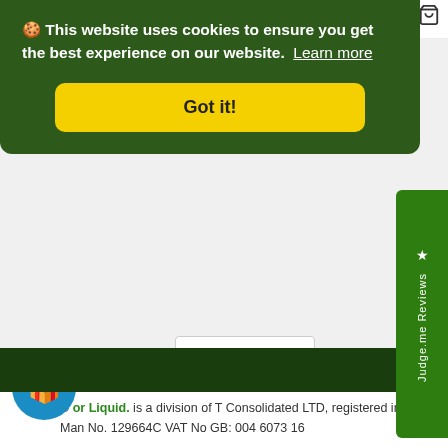[Figure (screenshot): Cookie consent banner with dark green background showing cookie notice text and Got it! button]
🍪 This website uses cookies to ensure you get the best experience on our website.
Learn more
Got it!
Sign Up
★ Judge.me Reviews
GBP
© or Liquid. is a division of T Consolidated LTD, registered in Isle of Man No. 129664C VAT No GB: 004 6073 16